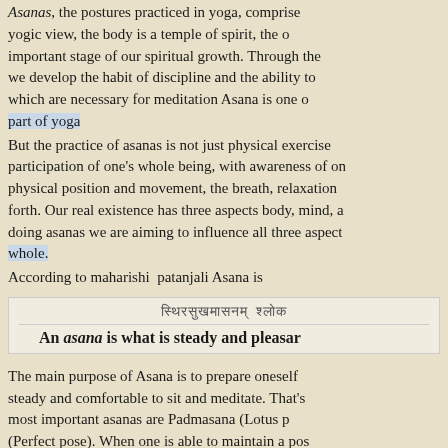Asanas, the postures practiced in yoga, comprise yogic view, the body is a temple of spirit, the important stage of our spiritual growth. Through the we develop the habit of discipline and the ability to which are necessary for meditation Asana is one of part of yoga
But the practice of asanas is not just physical exercise participation of one's whole being, with awareness of our physical position and movement, the breath, relaxation forth. Our real existence has three aspects body, mind, and doing asanas we are aiming to influence all three aspects whole.
According to maharishi patanjali Asana is
स्थिरसुखमासनम्
An asana is what is steady and pleasant
The main purpose of Asana is to prepare oneself steady and comfortable to sit and meditate. That's most important asanas are Padmasana (Lotus pose) (Perfect pose). When one is able to maintain a pose a steady and comfortable way then one can be as